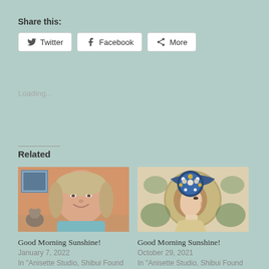Share this:
Twitter
Facebook
More
Loading...
Related
[Figure (photo): Photo of a woman with gray-blonde hair smiling, wearing a light blue top, with a framed picture and a cat visible in the background]
Good Morning Sunshine!
January 7, 2022
In "Anisette Studio, Shibui Found Image Art Posts"
[Figure (illustration): Art nouveau style illustration of a woman in profile with an elaborate blue and gold floral headdress, in the style of Alphonse Mucha]
Good Morning Sunshine!
October 29, 2021
In "Anisette Studio, Shibui Found Image Art Posts"